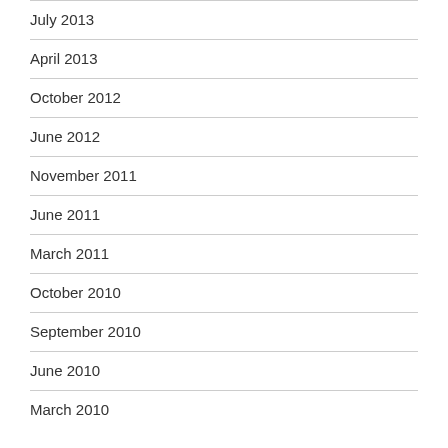July 2013
April 2013
October 2012
June 2012
November 2011
June 2011
March 2011
October 2010
September 2010
June 2010
March 2010